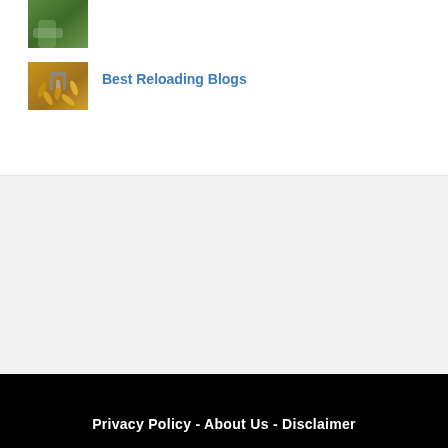[Figure (photo): Partial view of a person outdoors, appears to be a hunting or outdoor activity image with green background]
[Figure (photo): Bullets and reloading equipment scattered on a wooden surface with metal reloading tools]
Best Reloading Blogs
Privacy Policy - About Us - Disclaimer